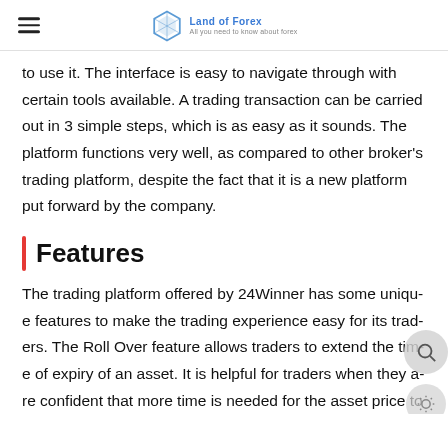Land of Forex — All you need to know about forex
to use it. The interface is easy to navigate through with certain tools available. A trading transaction can be carried out in 3 simple steps, which is as easy as it sounds. The platform functions very well, as compared to other broker's trading platform, despite the fact that it is a new platform put forward by the company.
Features
The trading platform offered by 24Winner has some unique features to make the trading experience easy for its traders. The Roll Over feature allows traders to extend the time of expiry of an asset. It is helpful for traders when they are confident that more time is needed for the asset price to